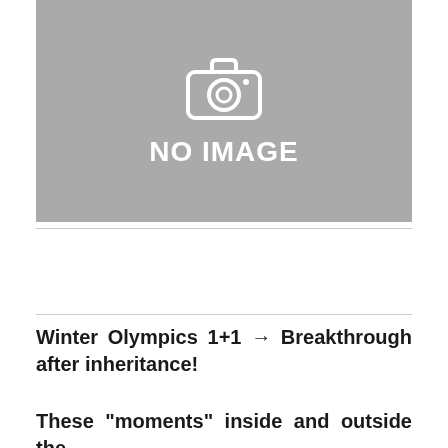[Figure (photo): Gray image placeholder with camera icon and 'NO IMAGE' text]
Winter Olympics 1+1 → Breakthrough after inheritance!
These "moments" inside and outside the